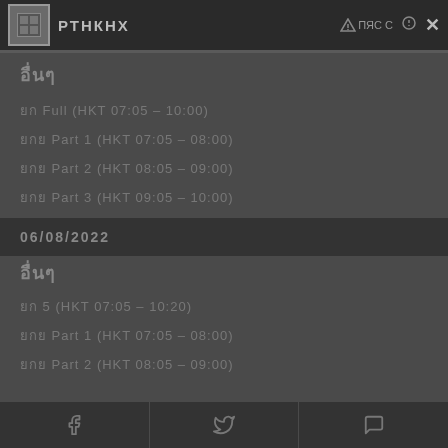ОТНЮС [navigation bar with logo, title РТНКНХ, icons, and close button]
อื่นๆ
ยก Full (HKT 07:05 - 10:00)
ยกย Part 1 (HKT 07:05 - 08:00)
ยกย Part 2 (HKT 08:05 - 09:00)
ยกย Part 3 (HKT 09:05 - 10:00)
06/08/2022
อื่นๆ
ยก 5 (HKT 07:05 - 10:20)
ยกย Part 1 (HKT 07:05 - 08:00)
ยกย Part 2 (HKT 08:05 - 09:00)
Social share buttons: Facebook, Twitter, WhatsApp